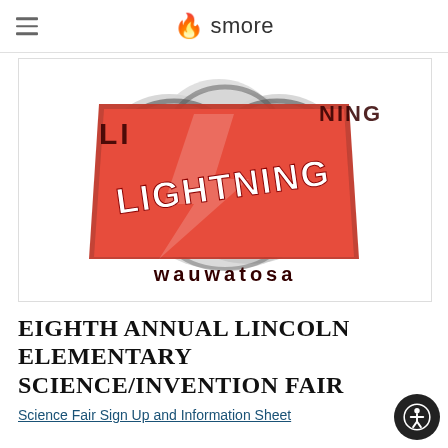smore
[Figure (logo): Lincoln Lightning Wauwatosa school mascot logo — a red lightning bolt over grey cloud shapes with text 'LIGHTNING' and 'WAUWATOSA' in dark letters]
EIGHTH ANNUAL LINCOLN ELEMENTARY SCIENCE/INVENTION FAIR
Science Fair Sign Up and Information Sheet